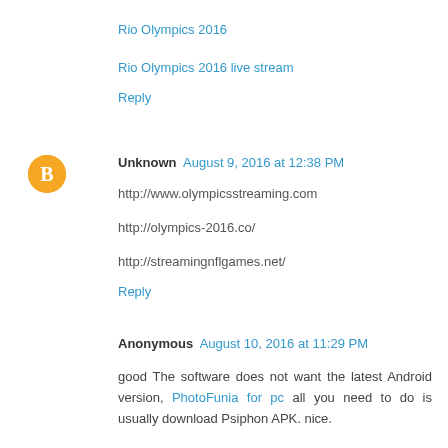Rio Olympics 2016
Rio Olympics 2016 live stream
Reply
Unknown  August 9, 2016 at 12:38 PM
http://www.olympicsstreaming.com
http://olympics-2016.co/
http://streamingnflgames.net/
Reply
Anonymous  August 10, 2016 at 11:29 PM
good The software does not want the latest Android version, PhotoFunia for pc all you need to do is usually download Psiphon APK. nice.